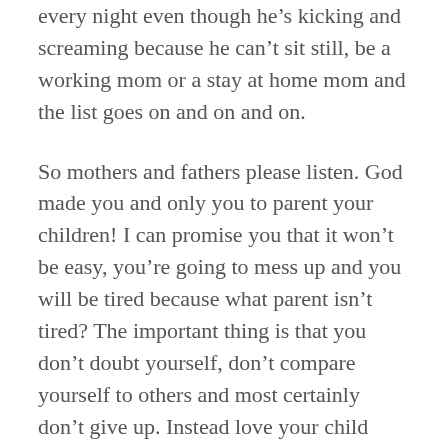every night even though he's kicking and screaming because he can't sit still, be a working mom or a stay at home mom and the list goes on and on and on.
So mothers and fathers please listen. God made you and only you to parent your children! I can promise you that it won't be easy, you're going to mess up and you will be tired because what parent isn't tired? The important thing is that you don't doubt yourself, don't compare yourself to others and most certainly don't give up. Instead love your child unconditionally, be the best you can be, ask for your child's forgiveness when you mess up and pray that God gives you the strength and guidance to do it all perfectly, imperfect!
For the record, Kellen is now 16 months and I love him more than life itself. He is making a mother out of me! A